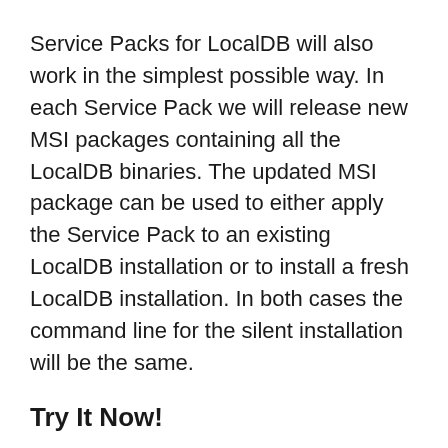Service Packs for LocalDB will also work in the simplest possible way. In each Service Pack we will release new MSI packages containing all the LocalDB binaries. The updated MSI package can be used to either apply the Service Pack to an existing LocalDB installation or to install a fresh LocalDB installation. In both cases the command line for the silent installation will be the same.
Try It Now!
As you can tell we are fairly satisfied with the final shape of LocalDB, at least for SQL Server 2012. But the final call belongs to you! Please give it a try and share your feedback with us.
You may also want to see other posts and materials about